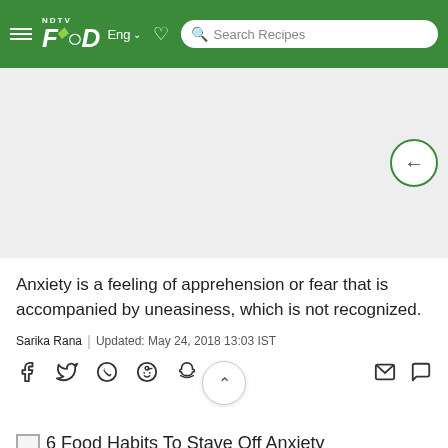NDTV FOOD Eng | Search Recipes
[Figure (other): Light gray advertisement/placeholder area with a back navigation button (circle with left arrow) on the right side]
Anxiety is a feeling of apprehension or fear that is accompanied by uneasiness, which is not recognized.
Sarika Rana | Updated: May 24, 2018 13:03 IST
Social share icons: Facebook, Twitter, WhatsApp, Reddit, Snapchat, Clapper; and email, comment icons on the right
6 Food Habits To Stave Off Anxiety